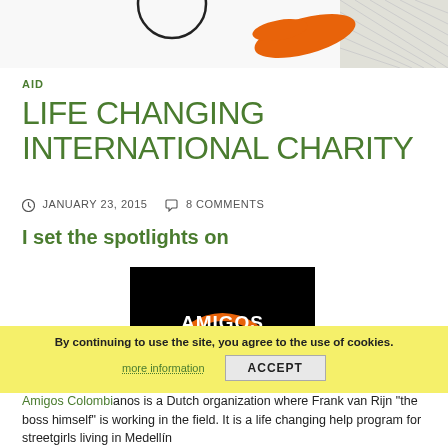[Figure (illustration): Top decorative image with a circle outline and orange swoosh/logo elements on the right, hatched pattern background on far right]
AID
LIFE CHANGING INTERNATIONAL CHARITY
JANUARY 23, 2015   8 COMMENTS
I set the spotlights on
[Figure (logo): Amigos Colombianos logo: black background with orange arc/swoosh, white bold text AMIGOS COLOMBIANOS, orange circle dot at bottom]
By continuing to use the site, you agree to the use of cookies.
more information   ACCEPT
Amigos Colombianos is a Dutch organization where Frank van Rijn "the boss himself" is working in the field. It is a life changing help program for streetgirls living in Medellín